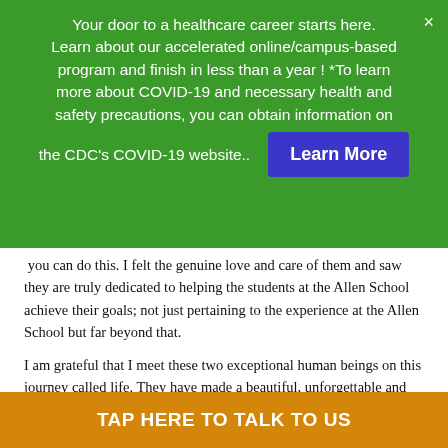Your door to a healthcare career starts here. Learn about our accelerated online/campus-based program and finish in less than a year ! *To learn more about COVID-19 and necessary health and safety precautions, you can obtain information on the CDC's COVID-19 website..
Learn More
you can do this. I felt the genuine love and care of them and saw they are truly dedicated to helping the students at the Allen School achieve their goals; not just pertaining to the experience at the Allen School but far beyond that.
I am grateful that I meet these two exceptional human beings on this journey called life. They have made a beautiful, unforgettable and blessed impression upon my life.
TAP HERE TO TALK TO US